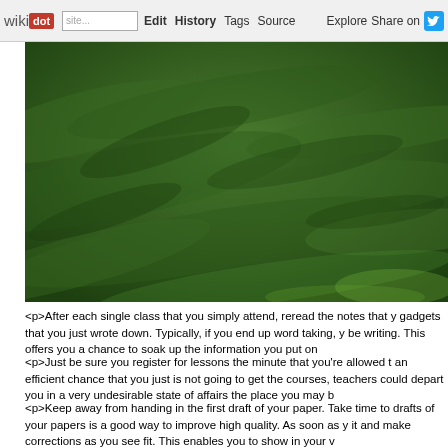wikidot | site | Edit | History | Tags | Source | Explore | Share on Twitter
[Figure (photo): Photograph of green grass field with light shadows creating wave-like patterns across the surface]
<p>After each single class that you simply attend, reread the notes that you gadgets that you just wrote down. Typically, if you end up word taking, you be writing. This offers you a chance to soak up the information you put on
<p>Just be sure you register for lessons the minute that you're allowed to an efficient chance that you just is not going to get the courses, teachers could depart you in a very undesirable state of affairs the place you may b
<p>Keep away from handing in the first draft of your paper. Take time to drafts of your papers is a good way to improve high quality. As soon as you it and make corrections as you see fit. This enables you to show in your v